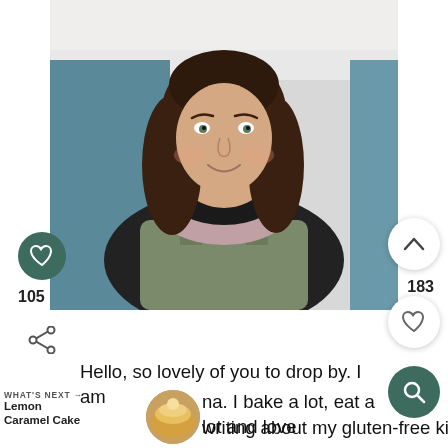[Figure (photo): Portrait photo of a woman with dark brown hair, wearing a black top, colorful striped scarf, and olive green dungarees, smiling at the camera in a kitchen setting with blue walls.]
Hello, so lovely of you to drop by. I am na. I bake a lot, eat a lot and love writing about my gluten-free kitchen adventures here. I run a gluten-free cake
WHAT'S NEXT → Lemon Caramel Cake